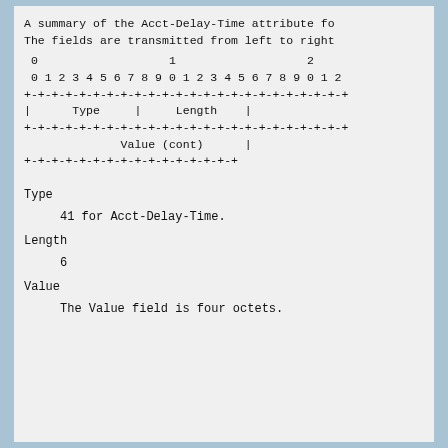A summary of the Acct-Delay-Time attribute fo
The fields are transmitted from left to right
[Figure (schematic): ASCII diagram of Acct-Delay-Time attribute format showing bit positions 0-2x and fields: Type, Length, Value (cont)]
Type
41 for Acct-Delay-Time.
Length
6
Value
The Value field is four octets.